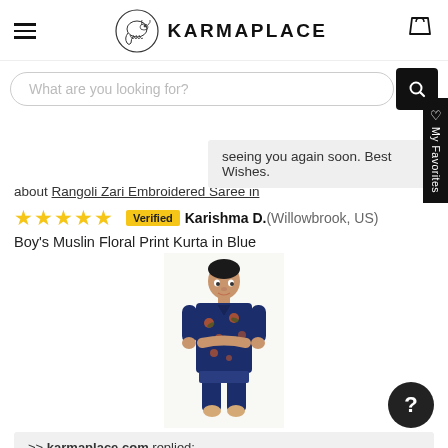KARMAPLACE
What are you looking for?
seeing you again soon. Best Wishes.
about Rangoli Zari Embroidered Saree in
Verified Karishma D. (Willowbrook, US)
Boy's Muslin Floral Print Kurta in Blue
[Figure (photo): Boy wearing a navy blue floral print muslin kurta]
>> karmaplace.com replied: Seeing that you had a 5-Star